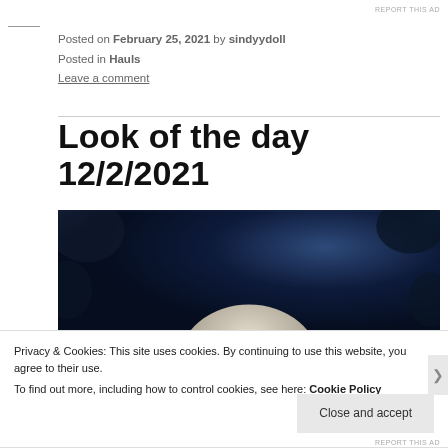REPORT THIS AD
Posted on February 25, 2021 by sindyydoll
Posted in Hauls
Leave a comment
Look of the day 12/2/2021
[Figure (photo): Top-down view of a person with light/platinum hair against a dark blue background]
Privacy & Cookies: This site uses cookies. By continuing to use this website, you agree to their use.
To find out more, including how to control cookies, see here: Cookie Policy
Close and accept
REPORT THIS AD